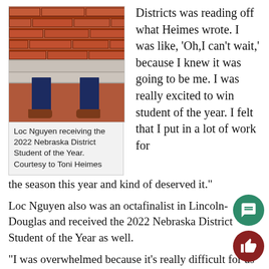[Figure (photo): Photo of Loc Nguyen receiving the 2022 Nebraska District Student of the Year award, showing lower body in blue suit and brown shoes, standing in front of brick wall with steps.]
Loc Nguyen receiving the 2022 Nebraska District Student of the Year. Courtesy to Toni Heimes
Districts was reading off what Heimes wrote. I was like, ‘Oh,I can’t wait,’ because I knew it was going to be me. I was really excited to win student of the year. I felt that I put in a lot of work for the season this year and kind of deserved it.”
Loc Nguyen also was an octafinalist in Lincoln-Douglas and received the 2022 Nebraska District Student of the Year as well.
“I was overwhelmed because it’s really difficult for us to win State debate,” Heimes said. “So all of those things, wrapped up, coming out of a pandemic made it really emotional because it was likely. You always overcome